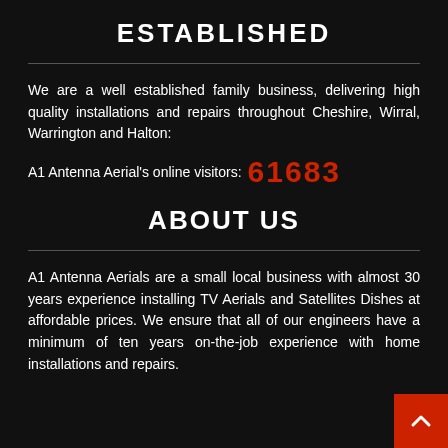ESTABLISHED
We are a well established family business, delivering high quality installations and repairs throughout Cheshire, Wirral, Warrington and Halton:
A1 Antenna Aerial's online visitors: 61683
ABOUT US
A1 Antenna Aerials are a small local business with almost 30 years experience installing TV Aerials and Satellites Dishes at affordable prices. We ensure that all of our engineers have a minimum of ten years on-the-job experience with home installations and repairs.